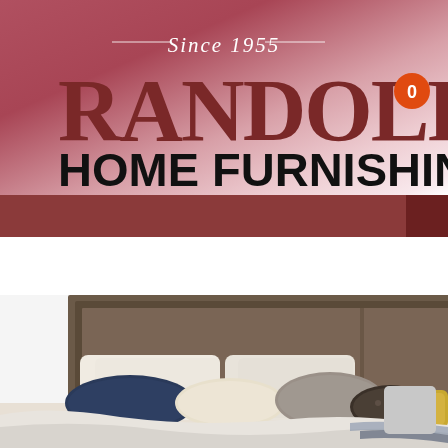[Figure (logo): Randolph Home Furnishings logo with 'Since 1955' cursive text above, large serif RANDOLPH text in dark red, and bold black HOME FURNISHINGS beneath, on a pink-to-white gradient background with an orange circle badge showing '0' on the right]
[Figure (photo): Bedroom furniture photo showing a dark wood panel headboard with navy, cream, gray and yellow throw pillows on a bed with white and gray bedding]